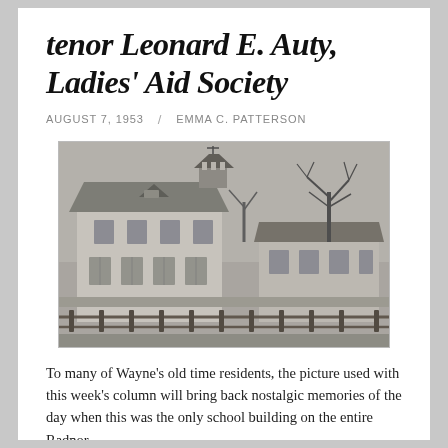tenor Leonard E. Auty, Ladies' Aid Society
AUGUST 7, 1953  /  EMMA C. PATTERSON
[Figure (photo): Black and white photograph of a two-story school building with a cupola on the roof, bare trees visible behind it, and a wooden fence in the foreground.]
To many of Wayne's old time residents, the picture used with this week's column will bring back nostalgic memories of the day when this was the only school building on the entire Radnor